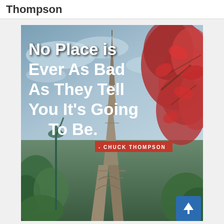Thompson
[Figure (photo): Motivational quote image over a photo of the Eiffel Tower in Paris with red autumn leaves on the right and a street lamp on the left. White text reads: 'No place is ever as bad as they tell you it's going to be.' with author credit '- CHUCK THOMPSON' on a red background.]